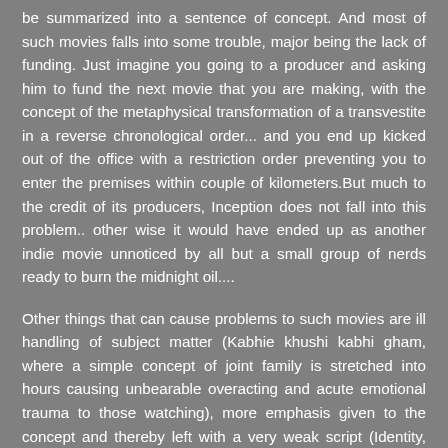be summarized into a sentence of concept. And most of such movies falls into some trouble, major being the lack of funding. Just imagine you going to a producer and asking him to fund the next movie that you are making, with the concept of the metaphysical transformation of a transvestite in a reverse chronological order... and you end up kicked out of the office with a restriction order preventing you to enter the premises within couple of kilometers.But much to the credit of its producers, Inception does not fall into this problem.. other wise it would have ended up as another indie movie unnoticed by all but a small group of nerds ready to burn the midnight oil....
Other things that can cause problems to such movies are ill handling of subject matter (Kabhie khushi kabhi gham, where a simple concept of joint family is stretched into hours causing unbearable overacting and acute emotional trauma to those watching), more emphasis given to the concept and thereby left with a very weak script (Identity, which despite being a good concept makes you feel that why the hell should I watch the mental conflicts of a super nut), making the concept watered down by adding lot of commercial